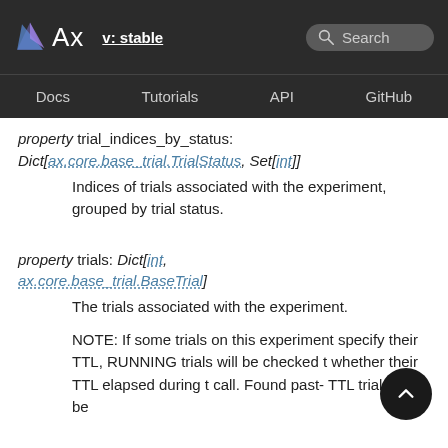Ax  v: stable  Search  Docs  Tutorials  API  GitHub
property trial_indices_by_status: Dict[ax.core.base_trial.TrialStatus, Set[int]]
Indices of trials associated with the experiment, grouped by trial status.
property trials: Dict[int, ax.core.base_trial.BaseTrial]
The trials associated with the experiment.
NOTE: If some trials on this experiment specify their TTL, RUNNING trials will be checked t whether their TTL elapsed during t call. Found past- TTL trials will be